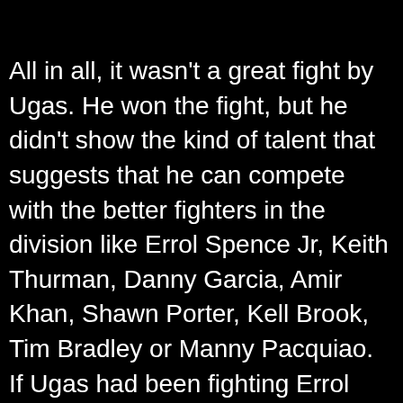All in all, it wasn't a great fight by Ugas. He won the fight, but he didn't show the kind of talent that suggests that he can compete with the better fighters in the division like Errol Spence Jr, Keith Thurman, Danny Garcia, Amir Khan, Shawn Porter, Kell Brook, Tim Bradley or Manny Pacquiao. If Ugas had been fighting Errol Spence tonight, he likely would have taken a bad beating and been knocked out within six rounds. Spence would have had an easy time against Ugas. That's not a knock on Ugas. It just shows you how far off he is from being at the world class level against the